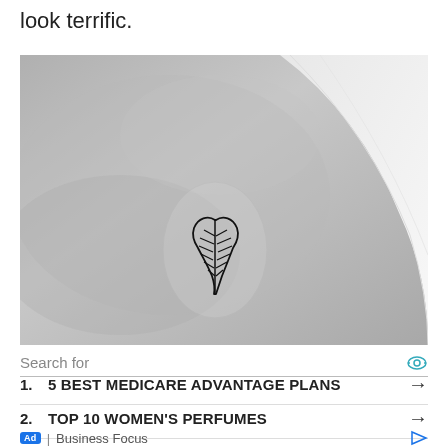look terrific.
[Figure (photo): Black and white close-up photograph of a small wing tattoo on skin, with a clear bandage/patch visible over part of the tattoo. A curved white surface (possibly fabric or paper) is visible on the right side.]
Search for
1. 5 BEST MEDICARE ADVANTAGE PLANS →
2. TOP 10 WOMEN'S PERFUMES →
Ad | Business Focus